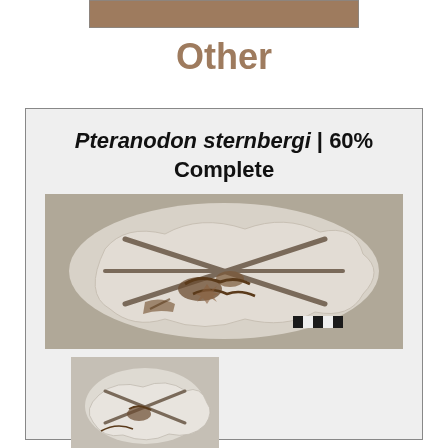[Figure (photo): Top banner/header strip — partially visible brownish rectangular banner at the very top of the page]
Other
[Figure (photo): Card panel containing title 'Pteranodon sternbergi | 60% Complete', a large photograph of a pteranodon fossil in plaster jacket (aerial view, whitish plaster with brown fossil bones visible, black-and-white scale bar in lower right), and a smaller thumbnail photo of a similar fossil.]